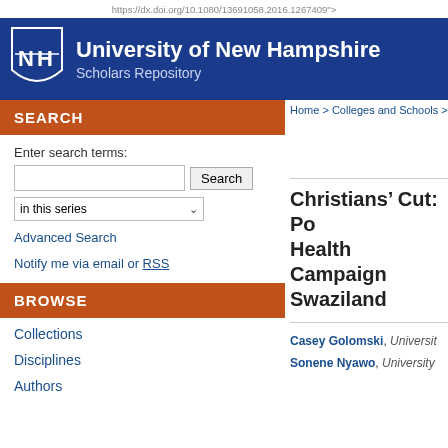https://dx.doi.org/10.1080/13691058.2016.1267409">
[Figure (logo): University of New Hampshire Scholars Repository header with NH shield logo on blue background]
SEARCH
Enter search terms:
BROWSE
Advanced Search
Notify me via email or RSS
Collections
Disciplines
Authors
Home > Colleges and Schools > C
Christians’ Cut: Po… Health Campaign… Swaziland
Casey Golomski, Universit…
Sonene Nyawo, University…